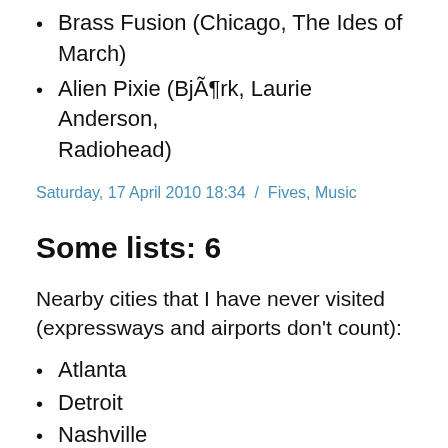Brass Fusion (Chicago, The Ides of March)
Alien Pixie (Björk, Laurie Anderson, Radiohead)
Saturday, 17 April 2010 18:34  /  Fives, Music
Some lists: 6
Nearby cities that I have never visited (expressways and airports don't count):
Atlanta
Detroit
Nashville
Memphis